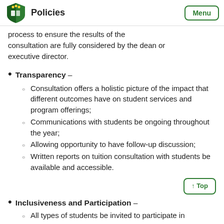Policies | Menu
process to ensure the results of the consultation are fully considered by the dean or executive director.
Transparency –
Consultation offers a holistic picture of the impact that different outcomes have on student services and program offerings;
Communications with students be ongoing throughout the year;
Allowing opportunity to have follow-up discussion;
Written reports on tuition consultation with students be available and accessible.
Inclusiveness and Participation –
All types of students be invited to participate in